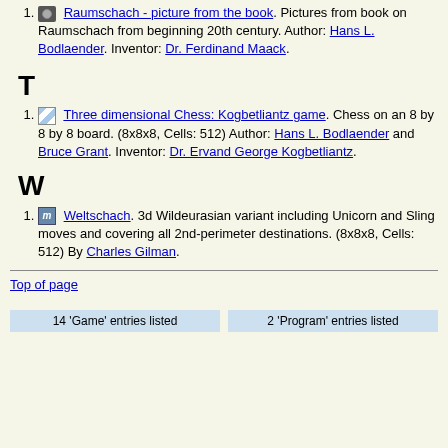Raumschach - picture from the book. Pictures from book on Raumschach from beginning 20th century. Author: Hans L. Bodlaender. Inventor: Dr. Ferdinand Maack.
T
Three dimensional Chess: Kogbetliantz game. Chess on an 8 by 8 by 8 board. (8x8x8, Cells: 512) Author: Hans L. Bodlaender and Bruce Grant. Inventor: Dr. Ervand George Kogbetliantz.
W
Weltschach. 3d Wildeurasian variant including Unicorn and Sling moves and covering all 2nd-perimeter destinations. (8x8x8, Cells: 512) By Charles Gilman.
Top of page
14 'Game' entries listed
2 'Program' entries listed